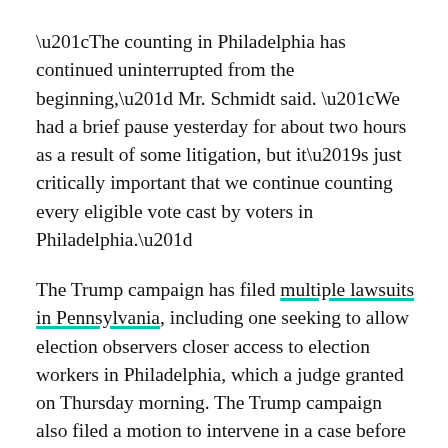“The counting in Philadelphia has continued uninterrupted from the beginning,” Mr. Schmidt said. “We had a brief pause yesterday for about two hours as a result of some litigation, but it’s just critically important that we continue counting every eligible vote cast by voters in Philadelphia.”
The Trump campaign has filed multiple lawsuits in Pennsylvania, including one seeking to allow election observers closer access to election workers in Philadelphia, which a judge granted on Thursday morning. The Trump campaign also filed a motion to intervene in a case before the U.S. Supreme Court, challenging a rule in the state that allows ballots that are postmarked by Election Day but arrive up to three days later to still be counted.
Kathy Boockvar, Pennsylvania’s secretary of state, said